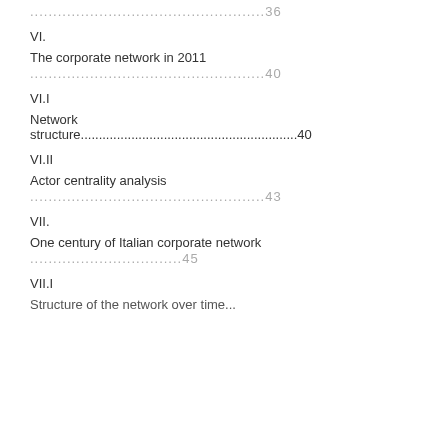...................................................36
VI.
The corporate network in 2011
...................................................40
VI.I
Network structure...........................................................40
VI.II
Actor centrality analysis
...................................................43
VII.
One century of Italian corporate network
.................................45
VII.I
Structure of the network over time...